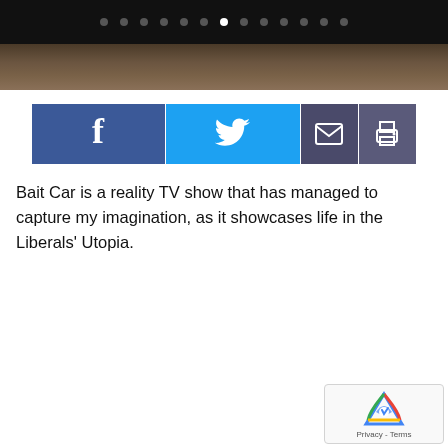[Figure (other): Black navigation bar with dot indicators and partial photo below]
[Figure (infographic): Social share buttons: Facebook, Twitter, Email, Print]
Bait Car is a reality TV show that has managed to capture my imagination, as it showcases life in the Liberals' Utopia.
[Figure (other): reCAPTCHA badge with Privacy and Terms text]